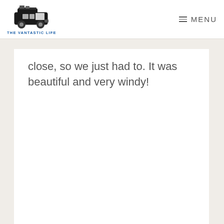THE VANTASTIC LIFE  MENU
close, so we just had to. It was beautiful and very windy!